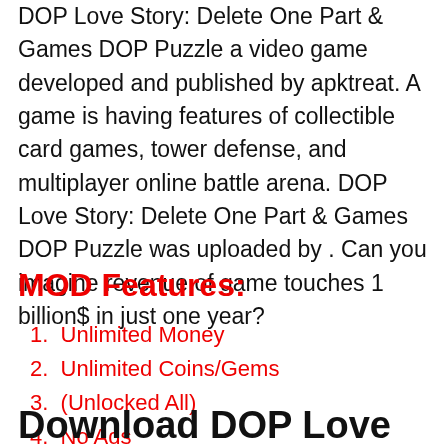DOP Love Story: Delete One Part & Games DOP Puzzle a video game developed and published by apktreat. A game is having features of collectible card games, tower defense, and multiplayer online battle arena. DOP Love Story: Delete One Part & Games DOP Puzzle was uploaded by . Can you imagine revenue of game touches 1 billion$ in just one year?
MOD Features:
Unlimited Money
Unlimited Coins/Gems
(Unlocked All)
No Ads
Download DOP Love